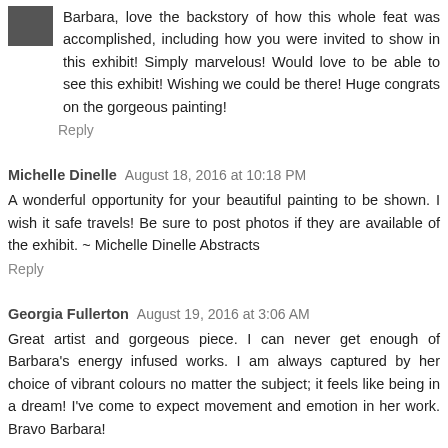Barbara, love the backstory of how this whole feat was accomplished, including how you were invited to show in this exhibit! Simply marvelous! Would love to be able to see this exhibit! Wishing we could be there! Huge congrats on the gorgeous painting!
Reply
Michelle Dinelle  August 18, 2016 at 10:18 PM
A wonderful opportunity for your beautiful painting to be shown. I wish it safe travels! Be sure to post photos if they are available of the exhibit. ~ Michelle Dinelle Abstracts
Reply
Georgia Fullerton  August 19, 2016 at 3:06 AM
Great artist and gorgeous piece. I can never get enough of Barbara's energy infused works. I am always captured by her choice of vibrant colours no matter the subject; it feels like being in a dream! I've come to expect movement and emotion in her work. Bravo Barbara!